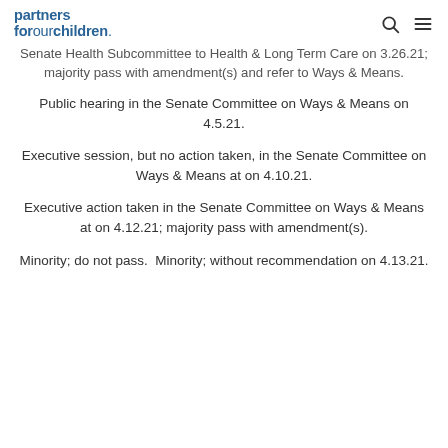partners forourchildren.
Senate Health Subcommittee to Health & Long Term Care on 3.26.21; majority pass with amendment(s) and refer to Ways & Means.
Public hearing in the Senate Committee on Ways & Means on 4.5.21.
Executive session, but no action taken, in the Senate Committee on Ways & Means at on 4.10.21.
Executive action taken in the Senate Committee on Ways & Means at on 4.12.21; majority pass with amendment(s).
Minority; do not pass.  Minority; without recommendation on 4.13.21.